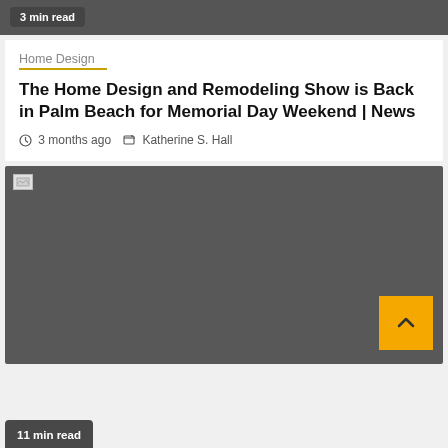3 min read
Home Design
The Home Design and Remodeling Show is Back in Palm Beach for Memorial Day Weekend | News
3 months ago   Katherine S. Hall
[Figure (photo): Broken image placeholder over dark gray background]
11 min read